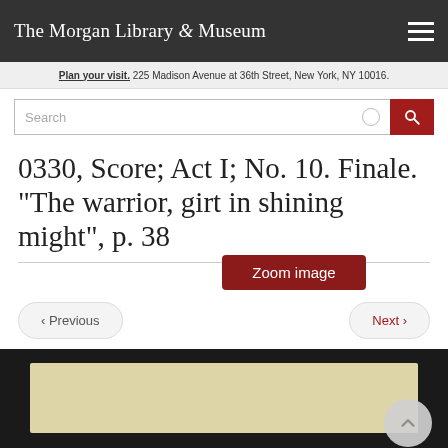The Morgan Library & Museum
Plan your visit. 225 Madison Avenue at 36th Street, New York, NY 10016.
0330, Score; Act I; No. 10. Finale. "The warrior, girt in shining might", p. 38
[Figure (screenshot): Zoom image button overlay on title area]
‹ Previous
Next ›
[Figure (photo): Manuscript page shown against dark background, partially visible at bottom of screen]